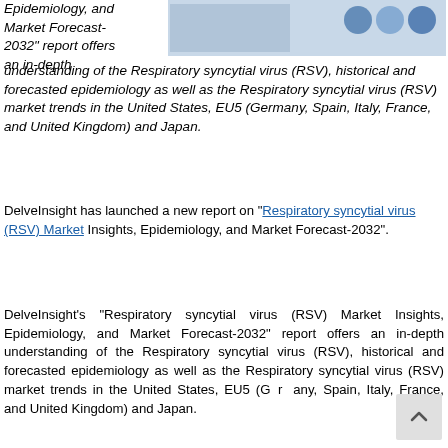Epidemiology, and Market Forecast-2032" report offers an in-depth understanding of the Respiratory syncytial virus (RSV), historical and forecasted epidemiology as well as the Respiratory syncytial virus (RSV) market trends in the United States, EU5 (Germany, Spain, Italy, France, and United Kingdom) and Japan.
DelveInsight has launched a new report on "Respiratory syncytial virus (RSV) Market Insights, Epidemiology, and Market Forecast-2032".
DelveInsight's "Respiratory syncytial virus (RSV) Market Insights, Epidemiology, and Market Forecast-2032" report offers an in-depth understanding of the Respiratory syncytial virus (RSV), historical and forecasted epidemiology as well as the Respiratory syncytial virus (RSV) market trends in the United States, EU5 (Germany, Spain, Italy, France, and United Kingdom) and Japan.